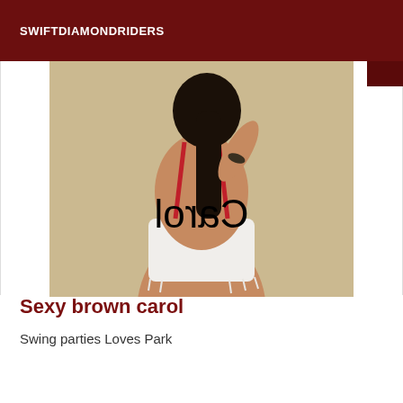SWIFTDIAMONDRIDERS
[Figure (photo): A woman with dark hair in a red backless top and white shorts, photographed from behind, with a mirror-reversed 'Carol' watermark overlaid on the image.]
Sexy brown carol
Swing parties Loves Park